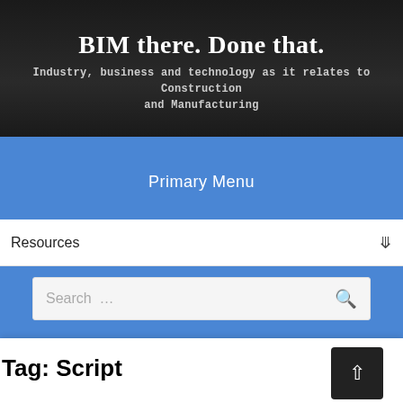BIM there. Done that.
Industry, business and technology as it relates to Construction and Manufacturing
Primary Menu
Resources
Search …
Tag: Script